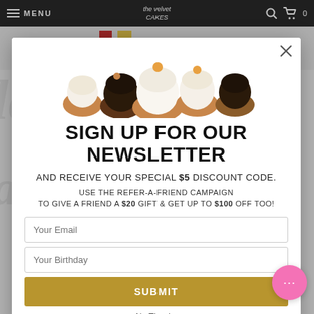MENU | [bakery logo] | [search icon] | [cart] 0
[Figure (screenshot): Newsletter sign-up modal popup over a bakery website. Modal contains cupcake image, title text, promotional text, email and birthday input fields, a submit button, and a no thanks link.]
SIGN UP FOR OUR NEWSLETTER
AND RECEIVE YOUR SPECIAL $5 DISCOUNT CODE.
USE THE REFER-A-FRIEND CAMPAIGN TO GIVE A FRIEND A $20 GIFT & GET UP TO $100 OFF TOO!
Your Email
Your Birthday
SUBMIT
No Thanks